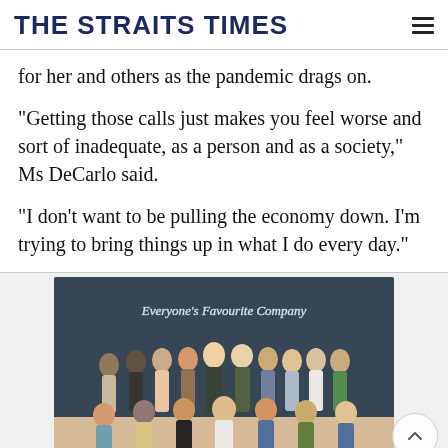THE STRAITS TIMES
for her and others as the pandemic drags on.
"Getting those calls just makes you feel worse and sort of inadequate, as a person and as a society," Ms DeCarlo said.
"I don't want to be pulling the economy down. I'm trying to bring things up in what I do every day."
[Figure (photo): Group photo of approximately 15-20 young people posing in front of a dark wall with neon sign reading 'Everyone's Favourite Company'. People are arranged in two rows, front row crouching, back row standing, in a well-lit modern office space.]